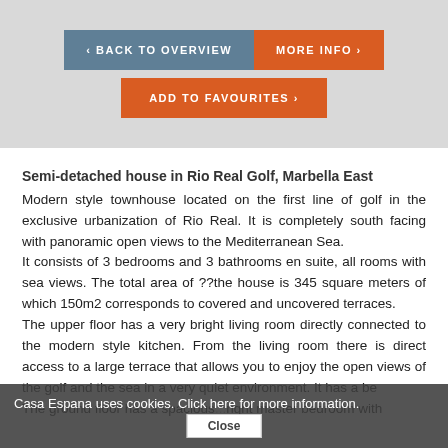[Figure (screenshot): Navigation buttons: back to overview (grey-blue), more info (orange), add to favourites (orange) on grey background]
Semi-detached house in Rio Real Golf, Marbella East
Modern style townhouse located on the first line of golf in the exclusive urbanization of Rio Real. It is completely south facing with panoramic open views to the Mediterranean Sea.
It consists of 3 bedrooms and 3 bathrooms en suite, all rooms with sea views. The total area of ??the house is 345 square meters of which 150m2 corresponds to covered and uncovered terraces.
The upper floor has a very bright living room directly connected to the modern style kitchen. From the living room there is direct access to a large terrace that allows you to enjoy the open views of the golf and the sea in a very quiet environment. It has a be... Casa Espana uses cookies. Click here for more information.
The ground floor has a spacious... right master bedroom with
Casa Espana uses cookies. Click here for more information.
Close